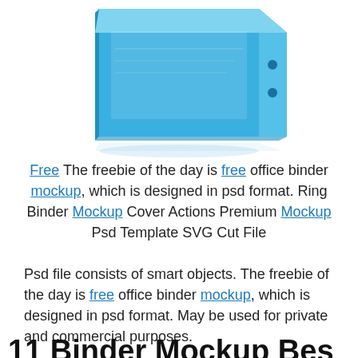[Figure (illustration): A blue ring binder / office binder shown in 3D perspective view from above and to the right, with a light blue color and visible spine, on a white background with a subtle reflection below.]
Free The freebie of the day is free office binder mockup, which is designed in psd format. Ring Binder Mockup Cover Actions Premium Mockup Psd Template SVG Cut File
Psd file consists of smart objects. The freebie of the day is free office binder mockup, which is designed in psd format. May be used for private and commercial purposes.
11 Binder Mockup Bes